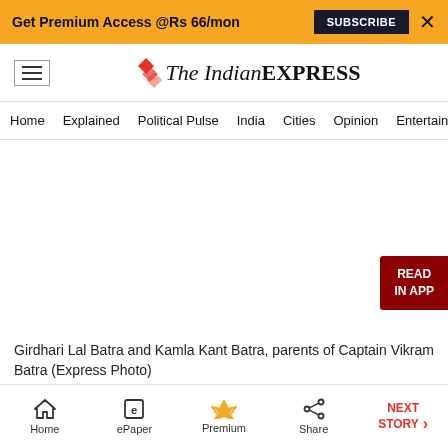Get Premium Access @Rs 66/mon  SUBSCRIBE  X
[Figure (logo): The Indian Express newspaper logo with red chevron icon, hamburger menu icon on left]
Home  Explained  Political Pulse  India  Cities  Opinion  Entertainment
[Figure (photo): Blank/white photo area with READ IN APP button overlay in dark red]
Girdhari Lal Batra and Kamla Kant Batra, parents of Captain Vikram Batra (Express Photo)
Home  ePaper  Premium  Share  NEXT STORY